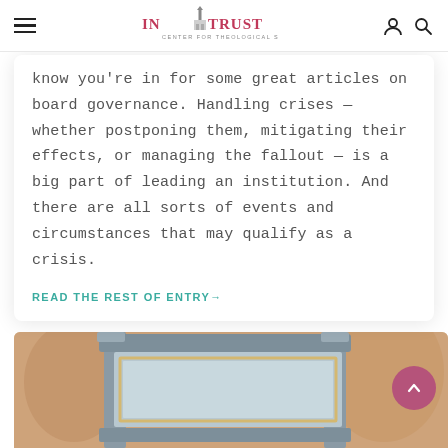IN TRUST CENTER FOR THEOLOGICAL SCHOOLS
know you're in for some great articles on board governance. Handling crises — whether postponing them, mitigating their effects, or managing the fallout — is a big part of leading an institution. And there are all sorts of events and circumstances that may qualify as a crisis.
READ THE REST OF ENTRY →
[Figure (photo): A grey church sign or bulletin board structure photographed outdoors, with blurred warm-toned background.]